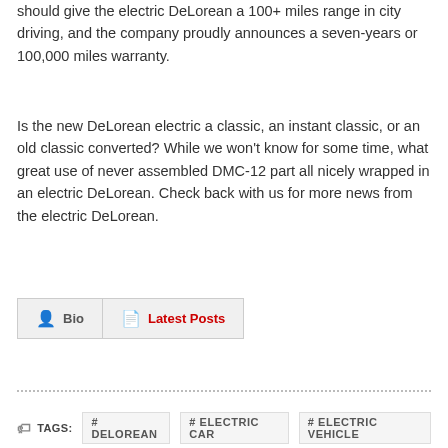should give the electric DeLorean a 100+ miles range in city driving, and the company proudly announces a seven-years or 100,000 miles warranty.
Is the new DeLorean electric a classic, an instant classic, or an old classic converted?  While we won't know for some time, what great use of never assembled DMC-12 part all nicely wrapped in an electric DeLorean.  Check back with us for more news from the electric DeLorean.
Bio   Latest Posts
TAGS:  # DELOREAN  # ELECTRIC CAR  # ELECTRIC VEHICLE